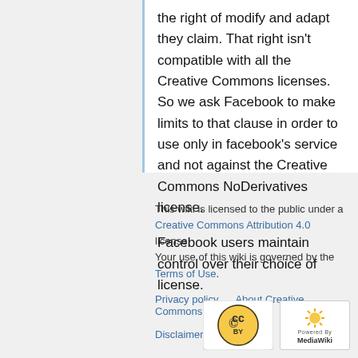The only problem with Flickr's license is the right of modify and adapt they claim. That right isn't compatible with all the Creative Commons licenses. So we ask Facebook to make limits to that clause in order to use only in facebook's service and not against the Creative Commons NoDerivatives license.

Facebook users maintain control over their choice of license.
This wiki is licensed to the public under a Creative Commons Attribution 4.0 license. Your use of this wiki is governed by the Terms of Use.
Privacy policy   About Creative Commons
Disclaimers
[Figure (logo): Creative Commons CC BY badge and MediaWiki Powered By badge]